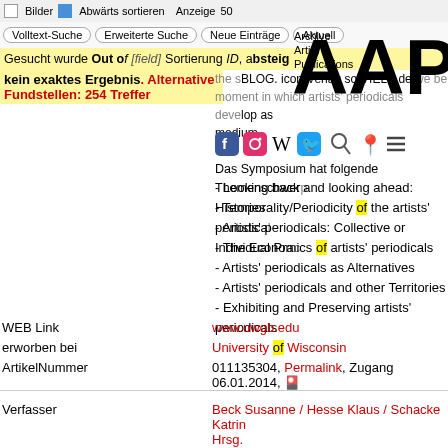Bilder | Abwärts sortieren | Anzeige 50
Volltext-Suche | Erweiterte Suche | Neue Einträge | Aktuell
Gesucht wurde Out of [field] Sortierung ID, absteigend
kein exaktes Ergebnis. Alternative Fundstellen: 254 Treffer
[Figure (logo): AAP Archive Artist Publications logo]
the BLOG. icon-Verlag so-VIELE.de we believe the moment in which artists' periodicals develop as medium.
Das Symposium hat folgende Themenschwerpunkte:
- Looking back and looking ahead: Histories
- Temporality/Periodicity of the artists' periodicals
- Artists' periodicals: Collective or Individual Practice
- The Economics of artists' periodicals
- Artists' periodicals as Alternatives
- Artists' periodicals and other Territories
- Exhibiting and Preserving artists' periodicals
WEB Link: www.uwgb.edu
erworben bei: University of Wisconsin
ArtikelNummer: 011135304, Permalink, Zugang 06.01.2014
Verfasser: Beck Susanne / Hesse Klaus / Schacke Katrin Hrsg.